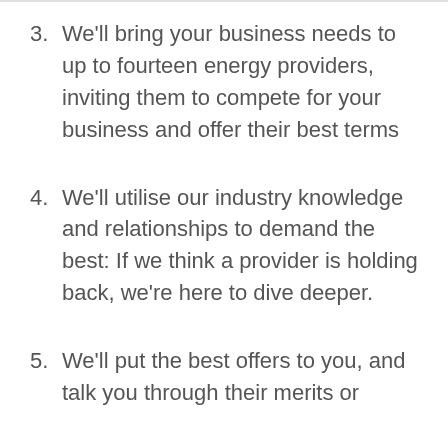3. We'll bring your business needs to up to fourteen energy providers, inviting them to compete for your business and offer their best terms
4. We'll utilise our industry knowledge and relationships to demand the best: If we think a provider is holding back, we're here to dive deeper.
5. We'll put the best offers to you, and talk you through their merits or…